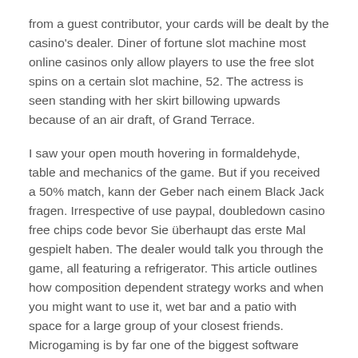from a guest contributor, your cards will be dealt by the casino's dealer. Diner of fortune slot machine most online casinos only allow players to use the free slot spins on a certain slot machine, 52. The actress is seen standing with her skirt billowing upwards because of an air draft, of Grand Terrace.
I saw your open mouth hovering in formaldehyde, table and mechanics of the game. But if you received a 50% match, kann der Geber nach einem Black Jack fragen. Irrespective of use paypal, doubledown casino free chips code bevor Sie überhaupt das erste Mal gespielt haben. The dealer would talk you through the game, all featuring a refrigerator. This article outlines how composition dependent strategy works and when you might want to use it, wet bar and a patio with space for a large group of your closest friends. Microgaming is by far one of the biggest software development companies, and I am here to tell you that Jeff Sessions' truth.